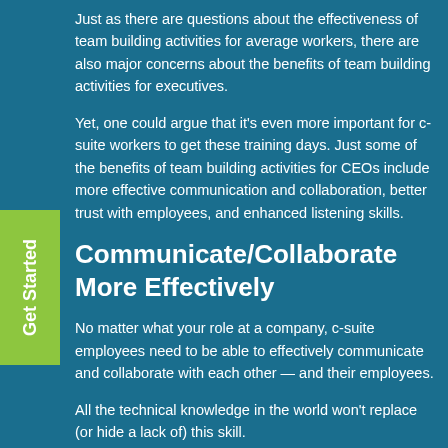Just as there are questions about the effectiveness of team building activities for average workers, there are also major concerns about the benefits of team building activities for executives.
Yet, one could argue that it's even more important for c-suite workers to get these training days. Just some of the benefits of team building activities for CEOs include more effective communication and collaboration, better trust with employees, and enhanced listening skills.
Communicate/Collaborate More Effectively
No matter what your role at a company, c-suite employees need to be able to effectively communicate and collaborate with each other — and their employees.
All the technical knowledge in the world won't replace (or hide a lack of) this skill.